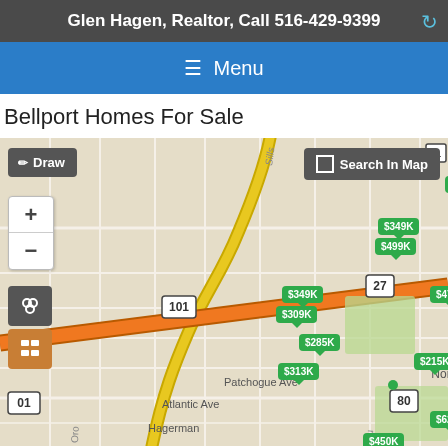Glen Hagen, Realtor, Call 516-429-9399
Bellport Homes For Sale
[Figure (map): Interactive real estate map showing Bellport, NY area homes for sale with green price tag markers at various locations. Markers show prices including $470K, $349K, $499K, $475K, $349K, $309K, $285K, $450K, $400K, $215K, $313K, $337K, $629K, $349K, $450K. Map includes roads, route markers (27, 80, 99, 101, 36, 21), area labels (Brookhaven Town Landfill, North Bellport, Patchogue Ave, Atlantic Ave, Hagerman, Brookhave), an orange highway, and map controls (Draw button, Search In Map button, zoom +/-, layer tools).]